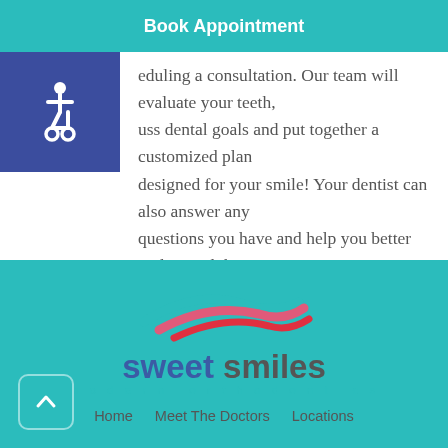Book Appointment
…eduling a consultation. Our team will evaluate your teeth, …uss dental goals and put together a customized plan designed for your smile! Your dentist can also answer any questions you have and help you better understand the Invisalign process. Call today to get started!
[Figure (logo): Sweet Smiles Modern Orthodontics logo with swoosh wave graphic in teal, pink and red, text 'sweet smiles' and subtitle 'modern orthodontics']
Home   Meet The Doctors   Locations